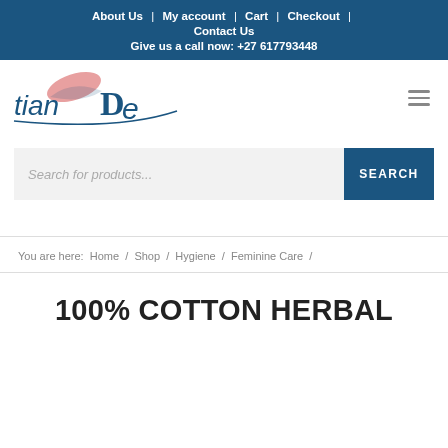About Us | My account | Cart | Checkout | Contact Us
Give us a call now: +27 617793448
[Figure (logo): TianDe brand logo with stylized text and leaf/fish graphic in blue and pink]
Search for products...
You are here: Home / Shop / Hygiene / Feminine Care /
100% COTTON HERBAL